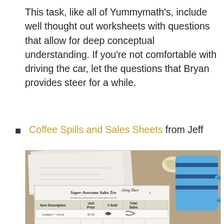This task, like all of Yummymath's, include well thought out worksheets with questions that allow for deep conceptual understanding. If you're not comfortable with driving the car, let the questions that Bryan provides steer for a while.
Coffee Spills and Sales Sheets from Jeff
[Figure (photo): Photo of a desk with papers including a 'Super-Awesome Sales Tracking Sheet' form with columns for Item Description, Unit Price, # Sold, Total Sales, and a blue mug in the background, along with crumpled paper.]